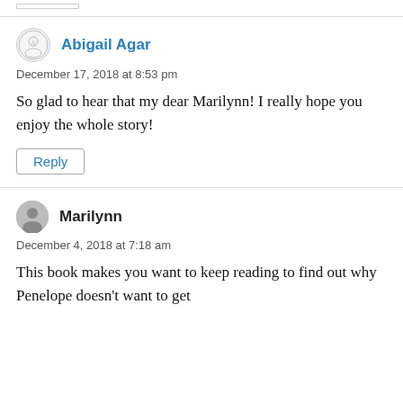[stub/truncated element at top]
Abigail Agar
December 17, 2018 at 8:53 pm
So glad to hear that my dear Marilynn! I really hope you enjoy the whole story!
Reply
Marilynn
December 4, 2018 at 7:18 am
This book makes you want to keep reading to find out why Penelope doesn't want to get